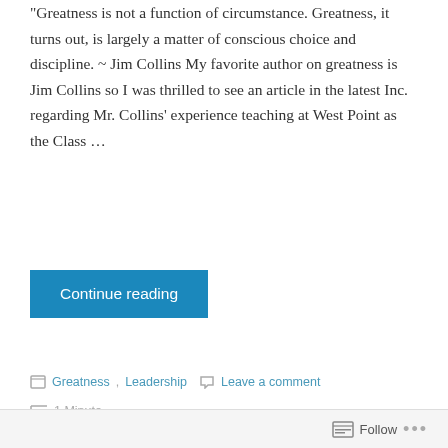"Greatness is not a function of circumstance. Greatness, it turns out, is largely a matter of conscious choice and discipline. ~ Jim Collins My favorite author on greatness is Jim Collins so I was thrilled to see an article in the latest Inc. regarding Mr. Collins' experience teaching at West Point as the Class …
Continue reading
Greatness, Leadership  Leave a comment  1 Minute
On Leadership: